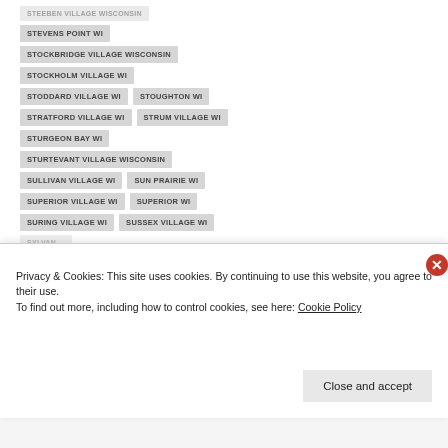STEEBEN VILLAGE WISCONSIN
STEVENS POINT WI
STOCKBRIDGE VILLAGE WISCONSIN
STOCKHOLM VILLAGE WI
STODDARD VILLAGE WI
STOUGHTON WI
STRATFORD VILLAGE WI
STRUM VILLAGE WI
STURGEON BAY WI
STURTEVANT VILLAGE WISCONSIN
SULLIVAN VILLAGE WI
SUN PRAIRIE WI
SUPERIOR VILLAGE WI
SUPERIOR WI
SURING VILLAGE WI
SUSSEX VILLAGE WI
Privacy & Cookies: This site uses cookies. By continuing to use this website, you agree to their use.
To find out more, including how to control cookies, see here: Cookie Policy